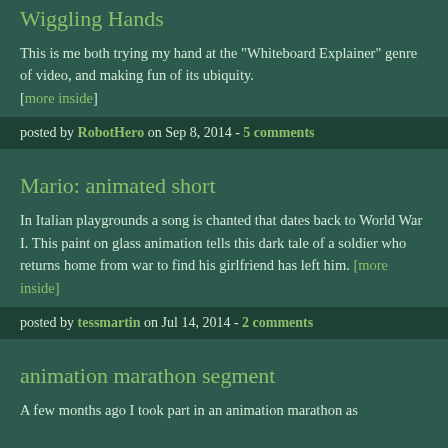Wiggling Hands
This is me both trying my hand at the "Whiteboard Explainer" genre of video, and making fun of its ubiquity. [more inside]
posted by RobotHero on Sep 8, 2014 - 5 comments
Mario: animated short
In Italian playgrounds a song is chanted that dates back to World War I. This paint on glass animation tells this dark tale of a soldier who returns home from war to find his girlfriend has left him. [more inside]
posted by tessmartin on Jul 14, 2014 - 2 comments
animation marathon segment
A few months ago I took part in an animation marathon as